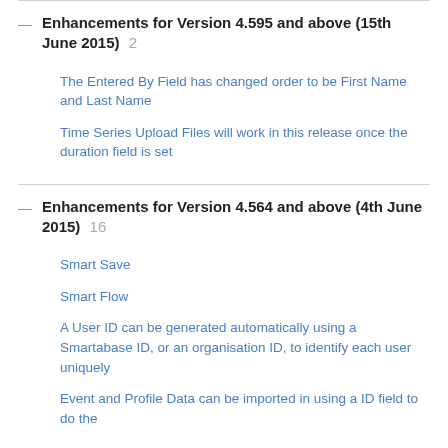Enhancements for Version 4.595 and above (15th June 2015) 2
The Entered By Field has changed order to be First Name and Last Name
Time Series Upload Files will work in this release once the duration field is set
Enhancements for Version 4.564 and above (4th June 2015) 16
Smart Save
Smart Flow
A User ID can be generated automatically using a Smartabase ID, or an organisation ID, to identify each user uniquely
Event and Profile Data can be imported in using a ID field to do the